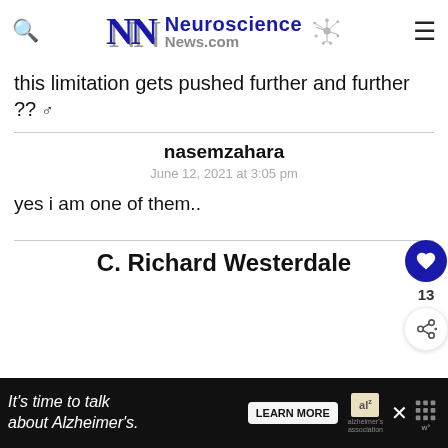Neuroscience News.com
this limitation gets pushed further and further ?? ♂
nasemzahara
June 12, 2021 at 3:05 pm
yes i am one of them..
C. Richard Westerdale
[Figure (other): Alzheimer's Association advertisement banner: 'It's time to talk about Alzheimer's.' with LEARN MORE button]